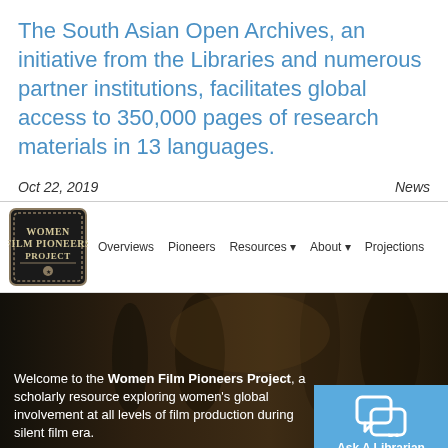The South Asian Open Archives, an initiative from the Libraries and numerous partner institutions, facilitates global access to 350,000 pages of research materials in 13 languages.
Oct 22, 2019
News
[Figure (screenshot): Women Film Pioneers Project website header showing logo and navigation menu with: Overviews, Pioneers, Resources, About, Projections]
[Figure (screenshot): Hero banner image with sepia-toned vintage photo of women in a film production setting. Text overlay reads: Welcome to the Women Film Pioneers Project, a scholarly resource exploring women's global involvement at all levels of film production during the silent film era.]
[Figure (screenshot): Ask A Librarian chat button widget in blue]
EXPLORE THIS SITE
FE...